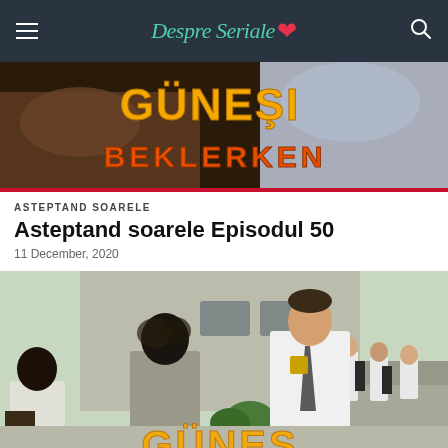DespreSeriale
[Figure (photo): Banner image with two people lying down, overlaid with orange/red text reading GUNESI BEKLERKEN on a dark background]
ASTEPTAND SOARELE
Asteptand soareele Episodul 50
11 December, 2020
[Figure (photo): Photo of students in school uniforms outside a building, with GUNES text visible at bottom]